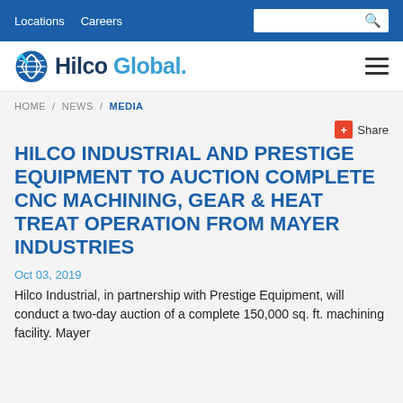Locations   Careers
[Figure (logo): Hilco Global logo with stylized globe icon]
HOME / NEWS / MEDIA
+ Share
HILCO INDUSTRIAL AND PRESTIGE EQUIPMENT TO AUCTION COMPLETE CNC MACHINING, GEAR & HEAT TREAT OPERATION FROM MAYER INDUSTRIES
Oct 03, 2019
Hilco Industrial, in partnership with Prestige Equipment, will conduct a two-day auction of a complete 150,000 sq. ft. machining facility. Mayer